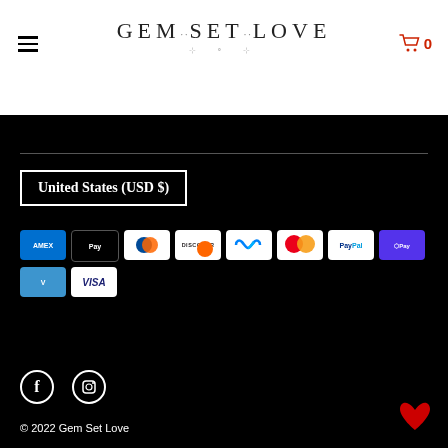[Figure (logo): GEM·SET·LOVE logo in decorative serif font with ornamental underline]
[Figure (infographic): Navigation icons: hamburger menu on left, shopping cart with 0 on right in red]
[Figure (infographic): Payment method icons: American Express, Apple Pay, Diners Club, Discover, Meta Pay, Mastercard, PayPal, Shop Pay, Venmo, Visa on black background]
United States (USD $)
[Figure (infographic): Social media icons: Facebook (f) and Instagram camera icon, circular bordered, on black background]
© 2022 Gem Set Love